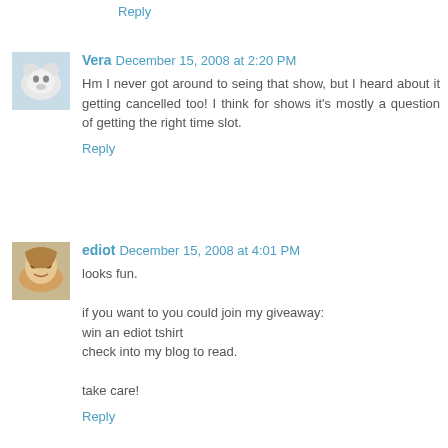Reply
Vera  December 15, 2008 at 2:20 PM
Hm I never got around to seing that show, but I heard about it getting cancelled too! I think for shows it's mostly a question of getting the right time slot.
Reply
ediot  December 15, 2008 at 4:01 PM
looks fun.

if you want to you could join my giveaway:
win an ediot tshirt
check into my blog to read.

take care!
Reply